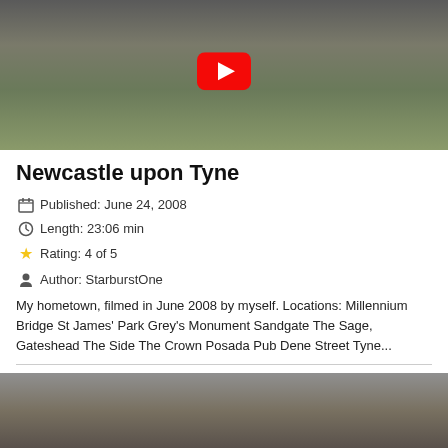[Figure (screenshot): Video thumbnail showing people walking near a stone archway with green foliage on the right, with a YouTube play button overlay]
Newcastle upon Tyne
Published: June 24, 2008
Length: 23:06 min
Rating: 4 of 5
Author: StarburstOne
My hometown, filmed in June 2008 by myself. Locations: Millennium Bridge St James' Park Grey's Monument Sandgate The Sage, Gateshead The Side The Crown Posada Pub Dene Street Tyne...
[Figure (screenshot): Video thumbnail showing a town square with decorations hanging overhead and a monument or statue visible]